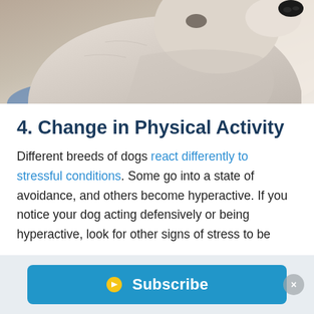[Figure (photo): Close-up photo of a dog's face and neck, light-colored dog looking upward, blue collar visible, warm indoor lighting]
4. Change in Physical Activity
Different breeds of dogs react differently to stressful conditions. Some go into a state of avoidance, and others become hyperactive. If you notice your dog acting defensively or being hyperactive, look for other signs of stress to be